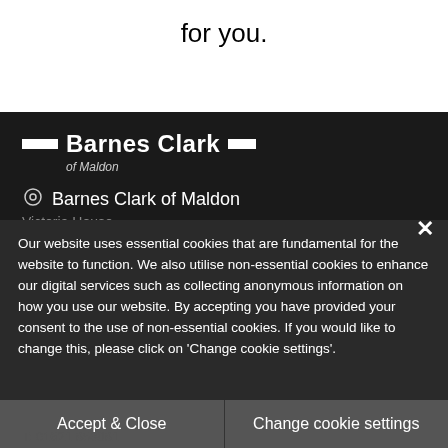for you.
[Figure (logo): Barnes Clark of Maldon logo — white bold text with horizontal bar decorations on black background]
Barnes Clark of Maldon
Victoria House
Our website uses essential cookies that are fundamental for the website to function. We also utilise non-essential cookies to enhance our digital services such as collecting anonymous information on how you use our website. By accepting you have provided your consent to the use of non-essential cookies. If you would like to change this, please click on 'Change cookie settings'.
Accept & Close
Change cookie settings